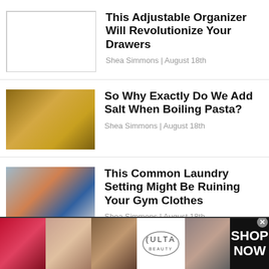[Figure (photo): Empty white rectangle placeholder for article image]
This Adjustable Organizer Will Revolutionize Your Drawers
Shea Simmons | August 18th
[Figure (photo): Hands adding pasta to a boiling pot]
So Why Exactly Do We Add Salt When Boiling Pasta?
Shea Simmons | August 18th
[Figure (photo): Person doing laundry with washing machine]
This Common Laundry Setting Might Be Ruining Your Gym Clothes
Shea Simmons | August 18th
[Figure (photo): Ulta Beauty advertisement banner with makeup imagery and SHOP NOW text]